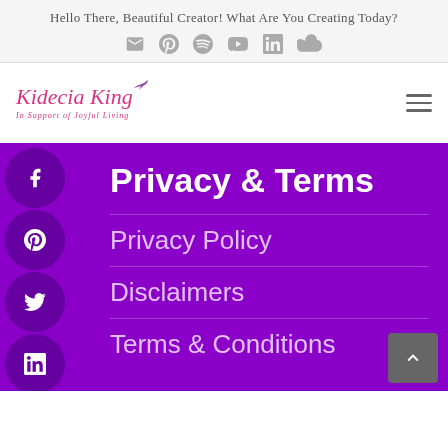Hello There, Beautiful Creator! What Are You Creating Today?
[Figure (logo): Kidecia King logo with tagline 'In Support of Joyful Living' and a small bird icon, pink script font]
Privacy & Terms
Privacy Policy
Disclaimers
Terms & Conditions